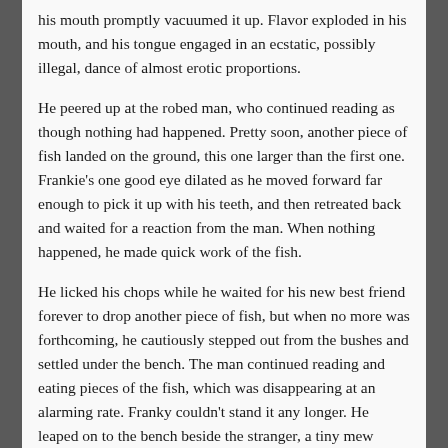his mouth promptly vacuumed it up. Flavor exploded in his mouth, and his tongue engaged in an ecstatic, possibly illegal, dance of almost erotic proportions.
He peered up at the robed man, who continued reading as though nothing had happened. Pretty soon, another piece of fish landed on the ground, this one larger than the first one. Frankie's one good eye dilated as he moved forward far enough to pick it up with his teeth, and then retreated back and waited for a reaction from the man. When nothing happened, he made quick work of the fish.
He licked his chops while he waited for his new best friend forever to drop another piece of fish, but when no more was forthcoming, he cautiously stepped out from the bushes and settled under the bench. The man continued reading and eating pieces of the fish, which was disappearing at an alarming rate. Franky couldn't stand it any longer. He leaped on to the bench beside the stranger, a tiny mew escaping his mouth as a searing pain shot up his leg and into his hip.
The man's face, partly hidden within the hood, was